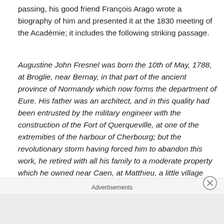passing, his good friend François Arago wrote a biography of him and presented it at the 1830 meeting of the Académie; it includes the following striking passage.
Augustine John Fresnel was born the 10th of May, 1788, at Broglie, near Bernay, in that part of the ancient province of Normandy which now forms the department of Eure. His father was an architect, and in this quality had been entrusted by the military engineer with the construction of the Fort of Querqueville, at one of the extremities of the harbour of Cherbourg; but the revolutionary storm having forced him to abandon this work, he retired with all his family to a moderate property which he owned near Caen, at Matthieu, a little village
Advertisements